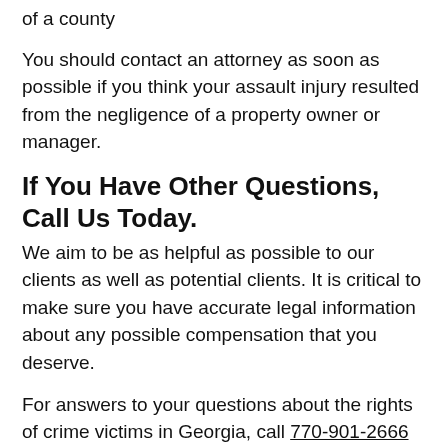of a county
You should contact an attorney as soon as possible if you think your assault injury resulted from the negligence of a property owner or manager.
If You Have Other Questions, Call Us Today.
We aim to be as helpful as possible to our clients as well as potential clients. It is critical to make sure you have accurate legal information about any possible compensation that you deserve.
For answers to your questions about the rights of crime victims in Georgia, call 770-901-2666 or complete our contact form to schedule a free initial consultation. Our law office is conveniently located in Atlanta.